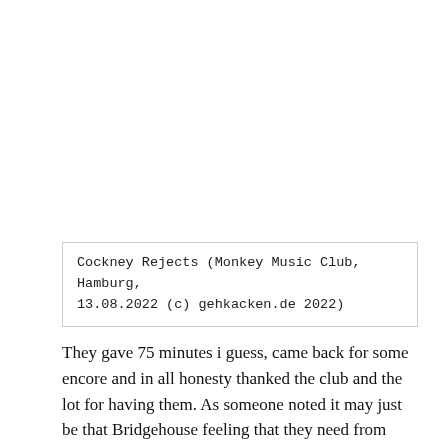Cockney Rejects (Monkey Music Club, Hamburg, 13.08.2022 (c) gehkacken.de 2022)
They gave 75 minutes i guess, came back for some encore and in all honesty thanked the club and the lot for having them. As someone noted it may just be that Bridgehouse feeling that they need from time to time.